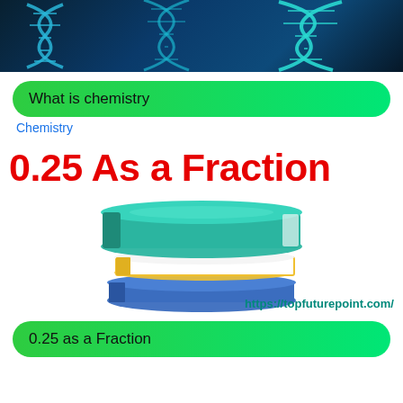[Figure (illustration): DNA double helix banner image on dark blue background]
What is chemistry
Chemistry
0.25 As a Fraction
[Figure (illustration): Stack of three books illustration with teal, white/yellow, and blue books]
https://topfuturepoint.com/
0.25 as a Fraction